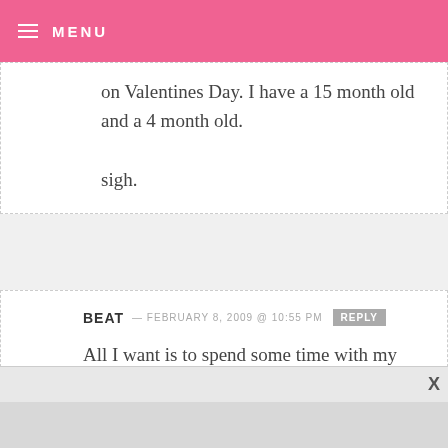MENU
on Valentines Day. I have a 15 month old and a 4 month old.

sigh.
BEAT — FEBRUARY 8, 2009 @ 10:55 PM REPLY
All I want is to spend some time with my boyfriend (I haven't seen him since New Year's).